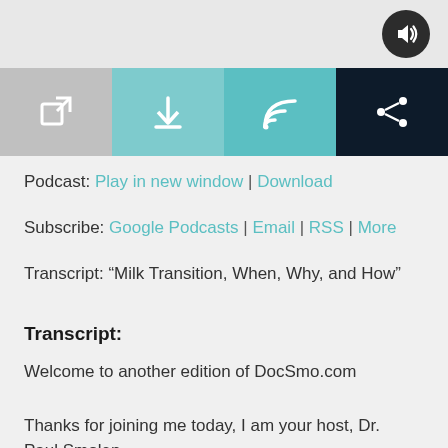[Figure (screenshot): Media player top bar with speaker/volume icon button (dark circular button) on dark background]
[Figure (screenshot): Four icon buttons in a row: external link (gray), download arrow (teal), RSS/wifi (teal), share (dark navy)]
Podcast: Play in new window | Download
Subscribe: Google Podcasts | Email | RSS | More
Transcript: “Milk Transition, When, Why, and How”
Transcript:
Welcome to another edition of DocSmo.com
Thanks for joining me today, I am your host, Dr. Paul Smolen.